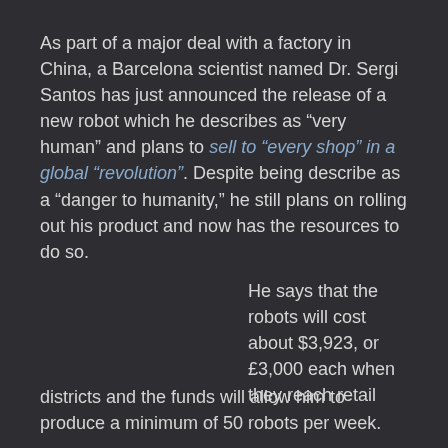As part of a major deal with a factory in China, a Barcelona scientist named Dr. Sergi Santos has just announced the release of a new robot which he describes as “very human” and plans to sell to “every shop” in a global “revolution”. Despite being describe as a “danger to humanity,” he still plans on rolling out his product and now has the resources to do so. He says that the robots will cost about $3,923, or £3,000 each when they reach retail districts and the funds will allow him to produce a minimum of 50 robots per week.